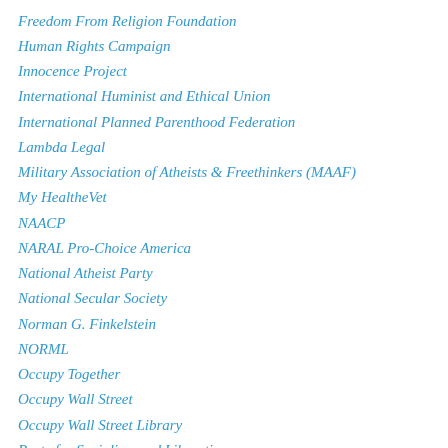Freedom From Religion Foundation
Human Rights Campaign
Innocence Project
International Huminist and Ethical Union
International Planned Parenthood Federation
Lambda Legal
Military Association of Atheists & Freethinkers (MAAF)
My HealtheVet
NAACP
NARAL Pro-Choice America
National Atheist Party
National Secular Society
Norman G. Finkelstein
NORML
Occupy Together
Occupy Wall Street
Occupy Wall Street Library
Party for Socialism and Liberation
PETA
Planned Parenthood